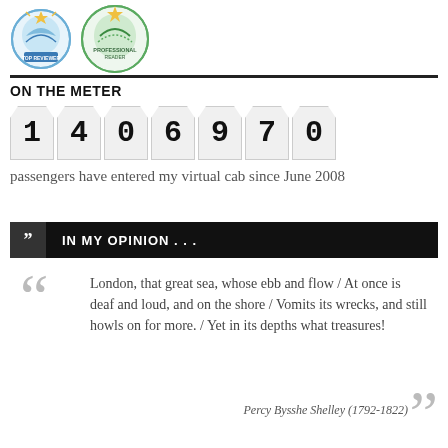[Figure (logo): Two circular badge logos: 'Top Reviewer' and 'Professional Reader' badges]
ON THE METER
[Figure (infographic): Odometer-style digit display showing the number 1406970]
passengers have entered my virtual cab since June 2008
IN MY OPINION . . .
London, that great sea, whose ebb and flow / At once is deaf and loud, and on the shore / Vomits its wrecks, and still howls on for more. / Yet in its depths what treasures!
Percy Bysshe Shelley (1792-1822)